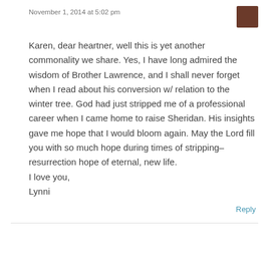November 1, 2014 at 5:02 pm
Karen, dear heartner, well this is yet another commonality we share. Yes, I have long admired the wisdom of Brother Lawrence, and I shall never forget when I read about his conversion w/ relation to the winter tree. God had just stripped me of a professional career when I came home to raise Sheridan. His insights gave me hope that I would bloom again. May the Lord fill you with so much hope during times of stripping–resurrection hope of eternal, new life.
I love you,
Lynni
Reply